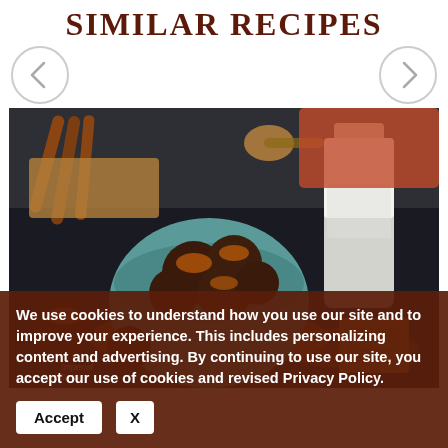SIMILAR RECIPES
[Figure (photo): Chocolate spiced cookie balls in a teal hexagonal bowl, surrounded by cinnamon sticks, a glass bottle of milk, orange spice powder, and gingerbread. Imperial Sugar watermark visible.]
We use cookies to understand how you use our site and to improve your experience. This includes personalizing content and advertising. By continuing to use our site, you accept our use of cookies and revised Privacy Policy.
Accept   X